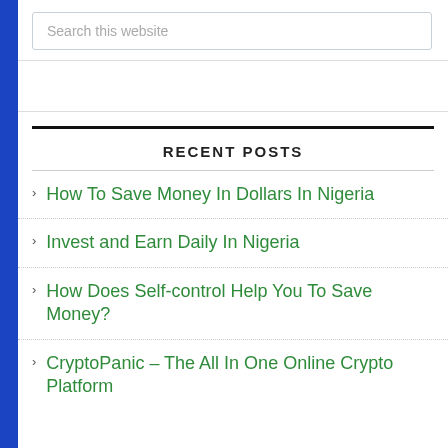Search this website
RECENT POSTS
How To Save Money In Dollars In Nigeria
Invest and Earn Daily In Nigeria
How Does Self-control Help You To Save Money?
CryptoPanic – The All In One Online Crypto Platform